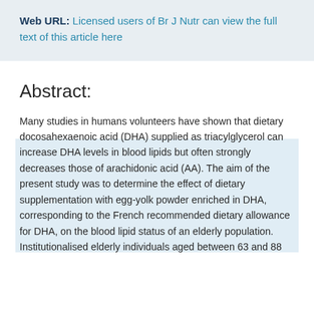Web URL: Licensed users of Br J Nutr can view the full text of this article here
Abstract:
Many studies in humans volunteers have shown that dietary docosahexaenoic acid (DHA) supplied as triacylglycerol can increase DHA levels in blood lipids but often strongly decreases those of arachidonic acid (AA). The aim of the present study was to determine the effect of dietary supplementation with egg-yolk powder enriched in DHA, corresponding to the French recommended dietary allowance for DHA, on the blood lipid status of an elderly population. Institutionalised elderly individuals aged between 63 and 88...